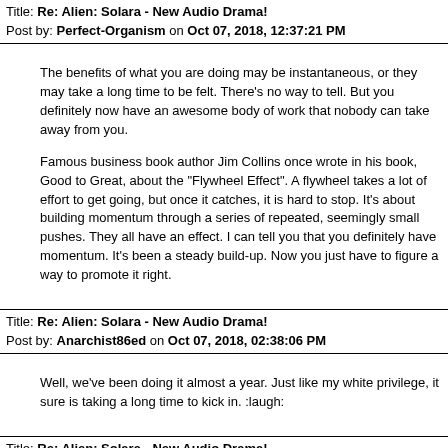Title: Re: Alien: Solara - New Audio Drama!
Post by: Perfect-Organism on Oct 07, 2018, 12:37:21 PM
The benefits of what you are doing may be instantaneous, or they may take a long time to be felt. There's no way to tell. But you definitely now have an awesome body of work that nobody can take away from you.

Famous business book author Jim Collins once wrote in his book, Good to Great, about the "Flywheel Effect". A flywheel takes a lot of effort to get going, but once it catches, it is hard to stop. It's about building momentum through a series of repeated, seemingly small pushes. They all have an effect. I can tell you that you definitely have momentum. It's been a steady build-up. Now you just have to figure a way to promote it right.
Title: Re: Alien: Solara - New Audio Drama!
Post by: Anarchist86ed on Oct 07, 2018, 02:38:06 PM
Well, we've been doing it almost a year. Just like my white privilege, it sure is taking a long time to kick in. :laugh:
Title: Re: Alien: Solara - New Audio Drama!
Post by: Hudson on Oct 07, 2018, 09:07:08 PM
I guess I don't really understand what you think it is that you are entitled to. People have seemed to enjoy your series; what else are you supposed to get for it? The more views, comments, and